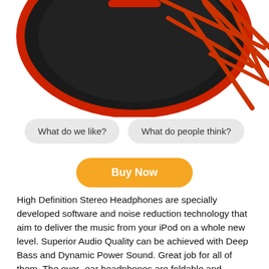[Figure (photo): Black and red over-ear headphones, partially cropped, showing the ear cup with geometric red line pattern on dark background]
What do we like?
What do people think?
Buy Now
High Definition Stereo Headphones are specially developed software and noise reduction technology that aim to deliver the music from your iPod on a whole new level. Superior Audio Quality can be achieved with Deep Bass and Dynamic Power Sound. Great job for all of them. The over- ear headphones are foldable and stretchable, so they can fit almost any size head. PowerLocus are always ready to impress with their convenience and elegance. PowerLocus is the #1 choice for travel, sport and every day use by children and adults. They made it easy to use the headphones. The headphones will be ready to pair when you slide the on/off button. The headphones are compatible with